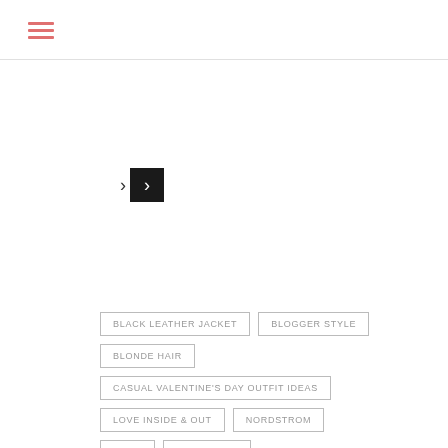[Figure (other): Hamburger menu icon with three red/pink horizontal lines]
[Figure (other): Navigation arrows: a plain > chevron and a > chevron in a black box]
BLACK LEATHER JACKET
BLOGGER STYLE
BLONDE HAIR
CASUAL VALENTINE'S DAY OUTFIT IDEAS
LOVE INSIDE & OUT
NORDSTROM
OOTD
PINK DRESS